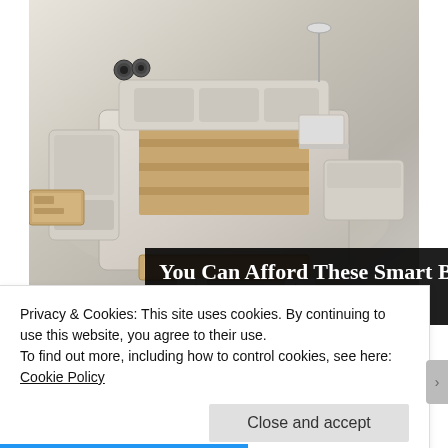[Figure (photo): A luxury smart bed with multiple features including speakers, adjustable sections, storage drawers, and built-in amenities, shown in an exploded/open view against a gradient background. Navigation controls (prev/next buttons and dots) are visible at the bottom of the image.]
You Can Afford These Smart Beds! See Them...
Sponsored by Smart Bed | Search
[Figure (photo): Thumbnail photo of Terrell Owens]
Terrell Owens
Privacy & Cookies: This site uses cookies. By continuing to use this website, you agree to their use.
To find out more, including how to control cookies, see here: Cookie Policy
Close and accept